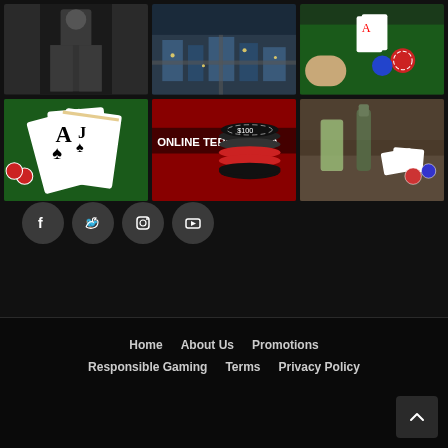[Figure (photo): Grid of 6 casino/gambling related photos arranged in 2 rows of 3: top row shows a person in suit, aerial city view (likely Las Vegas), and close-up of casino table; bottom row shows playing cards (Ace and Jack of spades), casino chips with 'Online Terpercaya' text, and drinks/casino accessories]
[Figure (other): Social media icons: Facebook, Twitter, Instagram, YouTube - dark circular buttons]
Home   About Us   Promotions   Responsible Gaming   Terms   Privacy Policy